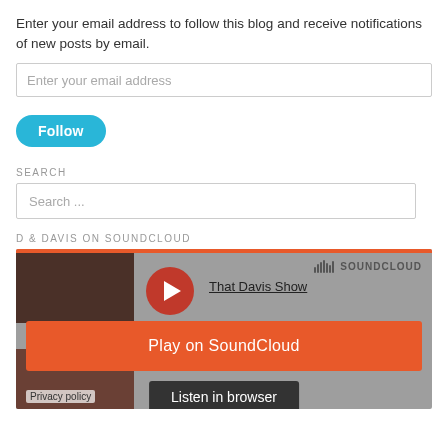Enter your email address to follow this blog and receive notifications of new posts by email.
Enter your email address
Follow
SEARCH
Search ...
D & DAVIS ON SOUNDCLOUD
[Figure (screenshot): SoundCloud embedded widget showing 'That Davis Show' with a play button, 'Play on SoundCloud' orange button, and 'Listen in browser' button on a grey background.]